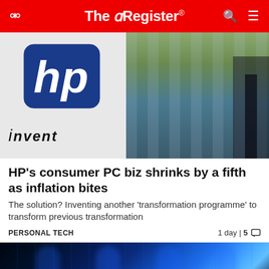The Register
[Figure (photo): HP Invent sign with blue HP logo on white background, with building entrance and trees in background]
HP's consumer PC biz shrinks by a fifth as inflation bites
The solution? Inventing another 'transformation programme' to transform previous transformation
PERSONAL TECH   1 day | 5
[Figure (photo): Digital blue hacker/cyber background with matrix-style binary code and glowing blue figures]